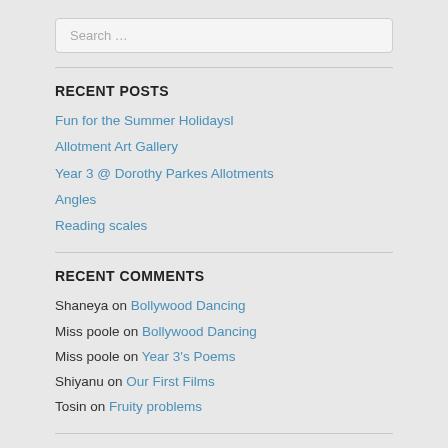Search …
RECENT POSTS
Fun for the Summer Holidaysl
Allotment Art Gallery
Year 3 @ Dorothy Parkes Allotments
Angles
Reading scales
RECENT COMMENTS
Shaneya on Bollywood Dancing
Miss poole on Bollywood Dancing
Miss poole on Year 3's Poems
Shiyanu on Our First Films
Tosin on Fruity problems